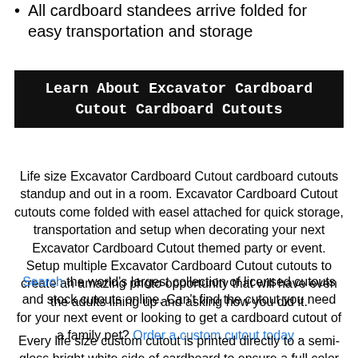All cardboard standees arrive folded for easy transportation and storage
Learn About Excavator Cardboard Cutout Cardboard Cutouts
Life size Excavator Cardboard Cutout cardboard cutouts standup and out in a room. Excavator Cardboard Cutout cutouts come folded with easel attached for quick storage, transportation and setup when decorating your next Excavator Cardboard Cutout themed party or event. Setup multiple Excavator Cardboard Cutout cutouts to create an amazing photo opportunity that will have even the adults lining up and asking how you did it.
Search the world’s largest collection of licensed cutouts and stock cutouts online. Can’t find the cutout you need for your next event or looking to get a cardboard cutout of a family pet? Order a custom cutout today .
Every life size custom cutout is printed directly to a semi-gloss bright white side of cardboard to ensure a full color